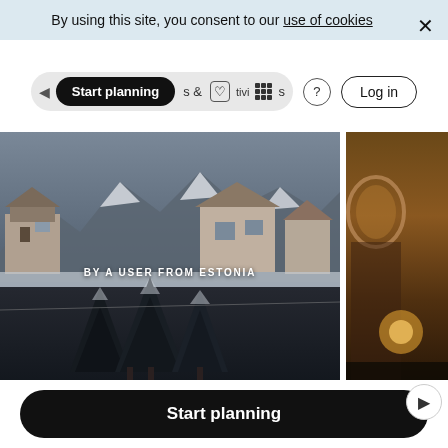By using this site, you consent to our use of cookies
[Figure (screenshot): Navigation bar with 'Start planning' dark pill button, activities icon, help icon, and Log in button]
[Figure (photo): Alpine winter scene with snow-covered trees and chalet buildings, labeled 'BY A USER FROM ESTONIA']
Sellaronda · Piz Boe
[Figure (photo): Partially visible warm-toned architectural photo, Rome · Flo...]
Rome · Flo
Start planning